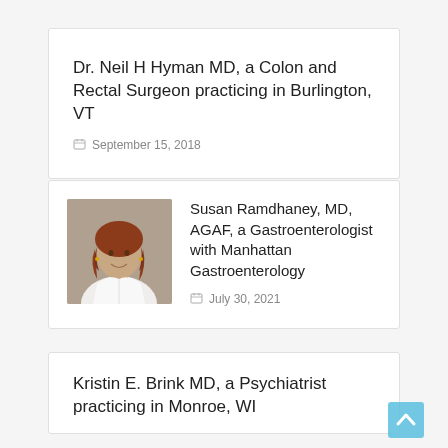Dr. Neil H Hyman MD, a Colon and Rectal Surgeon practicing in Burlington, VT
September 15, 2018
[Figure (photo): Headshot photo of Susan Ramdhaney, MD, AGAF — a woman with auburn/red wavy hair, wearing a white coat, smiling]
Susan Ramdhaney, MD, AGAF, a Gastroenterologist with Manhattan Gastroenterology
July 30, 2021
Kristin E. Brink MD, a Psychiatrist practicing in Monroe, WI